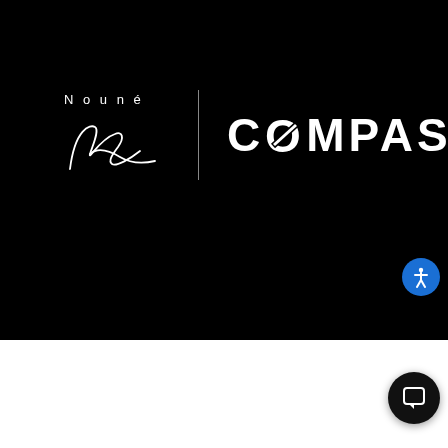[Figure (logo): Nouné signature logo with cursive 'k' in white on black background, followed by a vertical divider line, then the COMPASS wordmark in white on black background with a circle-slash through the 'O']
[Figure (other): Blue circular accessibility icon button in top-right area]
[Figure (other): Dark circular chat/message icon button at bottom-right, overlapping the black and white sections]